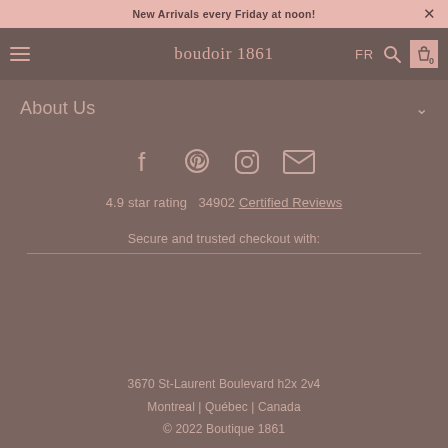New Arrivals every Friday at noon!
boudoir 1861  FR  0
About Us
[Figure (other): Social media icons: Facebook, Pinterest, Instagram, Email]
4.9 star rating  34902 Certified Reviews
Secure and trusted checkout with:
3670 St-Laurent Boulevard h2x 2v4
Montreal | Québec | Canada
© 2022 Boutique 1861